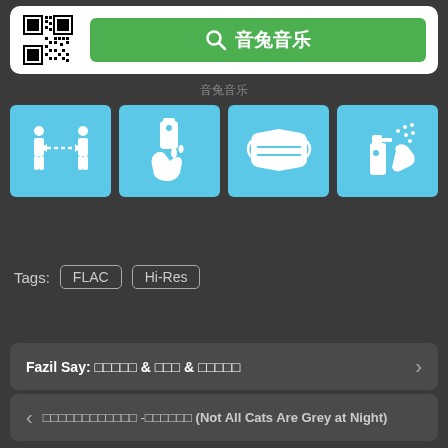[Figure (screenshot): Top card with QR code on left and green search button labeled 音兔音乐 on right]
音兔音乐
[Figure (infographic): Four blue icon boxes: social distancing, hand sanitizer, face mask, spray disinfectant]
Tags:  FLAC  Hi-Res
Fazil Say: □□□□□ & □□□ & □□□□□
□□□□□□□□□□□□ -□□□□□□ (Not All Cats Are Grey at Night)